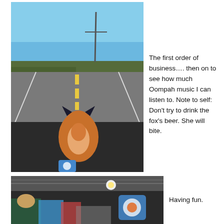[Figure (photo): A stuffed fox toy sitting on a car dashboard, viewed from behind, looking at a straight rural highway with power lines and trees, blue sky]
The first order of business…. then on to see how much Oompah music I can listen to. Note to self: Don't try to drink the fox's beer. She will bite.
[Figure (photo): Indoor scene at what appears to be a fair or festival, with people, colorful decorations, and a stuffed animal/badge visible]
Having fun.